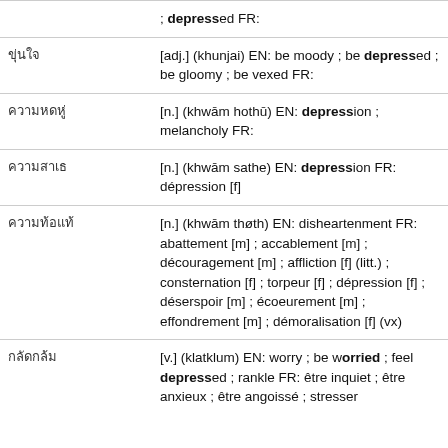| Thai | Definition |
| --- | --- |
|  | ; depressed FR: |
| ขุ่นใจ | [adj.] (khunjai) EN: be moody ; be depressed ; be gloomy ; be vexed FR: |
| ความหดหู่ | [n.] (khwām hothū) EN: depression ; melancholy FR: |
| ความสาเธ | [n.] (khwām sathe) EN: depression FR: dépression [f] |
| ความท้อแท้ | [n.] (khwām thøth) EN: disheartenment FR: abattement [m] ; accablement [m] ; découragement [m] ; affliction [f] (litt.) ; consternation [f] ; torpeur [f] ; dépression [f] ; déserspoir [m] ; écoeurement [m] ; effondrement [m] ; démoralisation [f] (vx) |
| กลัดกลุ้ม | [v.] (klatklum) EN: worry ; be worried ; feel depressed ; rankle FR: être inquiet ; être anxieux ; être angoissé ; stresser |